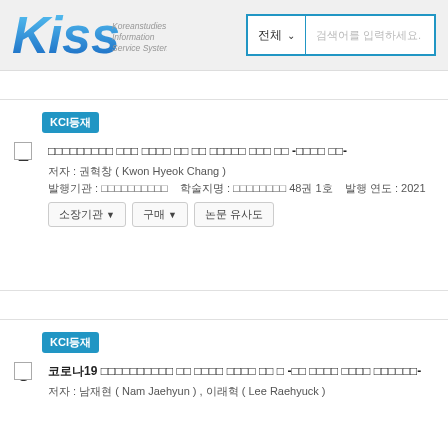[Figure (logo): KISS (Koreanstudies Information Service System) logo in blue with text]
전체 ∨  검색어를 입력하세요.
KCI등재
2  □□□□□□□□□ □□□ □□□□ □□ □□ □□□□□ □□□ □□ -□□□□ □□-
저자 : 권혁창 ( Kwon Hyeok Chang )
발행기관 : □□□□□□□□□□   학술지명 : □□□□□□□□ 48권 1호   발행 연도 : 2021
소장기관 ▼   구매 ▼   논문 유사도
KCI등재
3  코로나19 □□□□□□□□□□ □□ □□□□ □□□□ □□ □ -□□ □□□□ □□□□ □□□□□□-
저자 : 남재현 ( Nam Jaehyun ) , 이래혁 ( Lee Raehyuck )